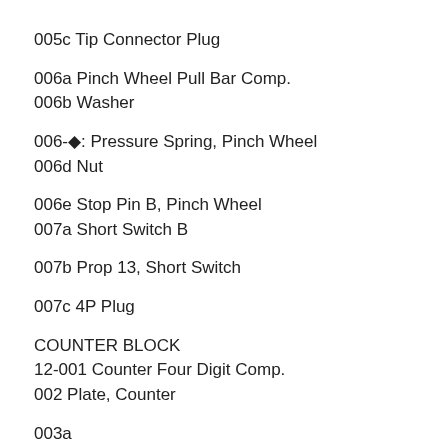005c Tip Connector Plug
006a Pinch Wheel Pull Bar Comp.
006b Washer
006-◆: Pressure Spring, Pinch Wheel
006d Nut
006e Stop Pin B, Pinch Wheel
007a Short Switch B
007b Prop 13, Short Switch
007c 4P Plug
COUNTER BLOCK
12-001 Counter Four Digit Comp.
002 Plate, Counter
003a
003b